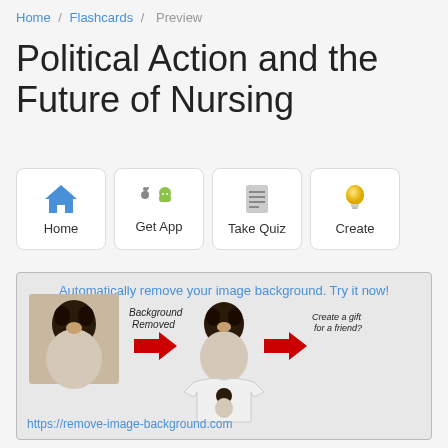Home / Flashcards / Preview
Political Action and the Future of Nursing
[Figure (screenshot): Navigation buttons: Home (house icon), Get App (Apple and Android icons), Take Quiz (document icon), Create (lightbulb icon)]
[Figure (screenshot): Advertisement: 'Automatically remove your image background. Try it now!' showing a dog photo before and after background removal, with a t-shirt product mockup. URL: https://remove-image-background.com]